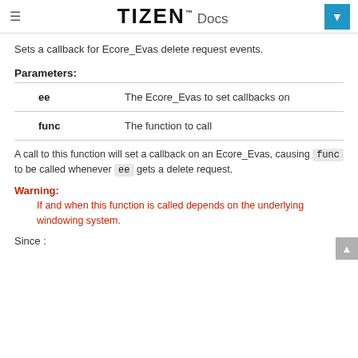TIZEN Docs
Sets a callback for Ecore_Evas delete request events.
Parameters:
| Parameter | Description |
| --- | --- |
| ee | The Ecore_Evas to set callbacks on |
| func | The function to call |
A call to this function will set a callback on an Ecore_Evas, causing func to be called whenever ee gets a delete request.
Warning:
If and when this function is called depends on the underlying windowing system.
Since :